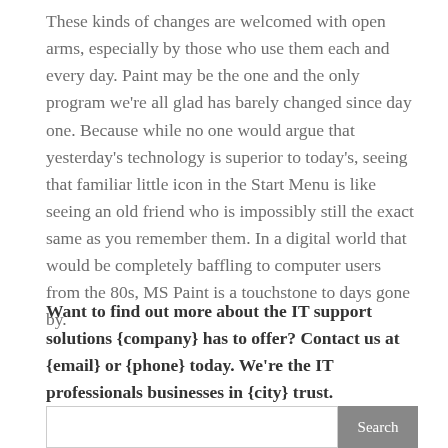These kinds of changes are welcomed with open arms, especially by those who use them each and every day. Paint may be the one and the only program we're all glad has barely changed since day one. Because while no one would argue that yesterday's technology is superior to today's, seeing that familiar little icon in the Start Menu is like seeing an old friend who is impossibly still the exact same as you remember them. In a digital world that would be completely baffling to computer users from the 80s, MS Paint is a touchstone to days gone by.
Want to find out more about the IT support solutions {company} has to offer? Contact us at {email} or {phone} today. We're the IT professionals businesses in {city} trust.